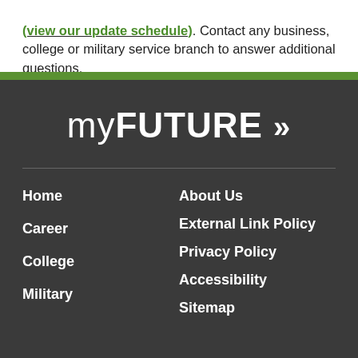(view our update schedule). Contact any business, college or military service branch to answer additional questions.
[Figure (logo): myFUTURE logo with double chevron arrows on dark background]
Home
Career
College
Military
About Us
External Link Policy
Privacy Policy
Accessibility
Sitemap